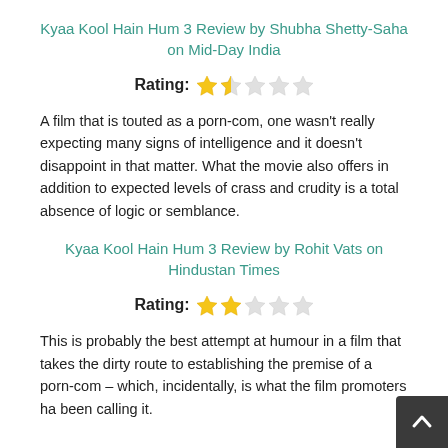Kyaa Kool Hain Hum 3 Review by Shubha Shetty-Saha on Mid-Day India
Rating: ★★☆☆☆
A film that is touted as a porn-com, one wasn't really expecting many signs of intelligence and it doesn't disappoint in that matter. What the movie also offers in addition to expected levels of crass and crudity is a total absence of logic or semblance.
Kyaa Kool Hain Hum 3 Review by Rohit Vats on Hindustan Times
Rating: ★★☆☆☆
This is probably the best attempt at humour in a film that takes the dirty route to establishing the premise of a porn-com – which, incidentally, is what the film promoters ha been calling it.